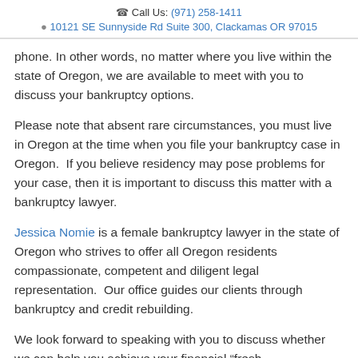📞 Call Us: (971) 258-1411 | 📍 10121 SE Sunnyside Rd Suite 300, Clackamas OR 97015
phone. In other words, no matter where you live within the state of Oregon, we are available to meet with you to discuss your bankruptcy options.
Please note that absent rare circumstances, you must live in Oregon at the time when you file your bankruptcy case in Oregon.  If you believe residency may pose problems for your case, then it is important to discuss this matter with a bankruptcy lawyer.
Jessica Nomie is a female bankruptcy lawyer in the state of Oregon who strives to offer all Oregon residents compassionate, competent and diligent legal representation.  Our office guides our clients through bankruptcy and credit rebuilding.
We look forward to speaking with you to discuss whether we can help you achieve your financial "fresh